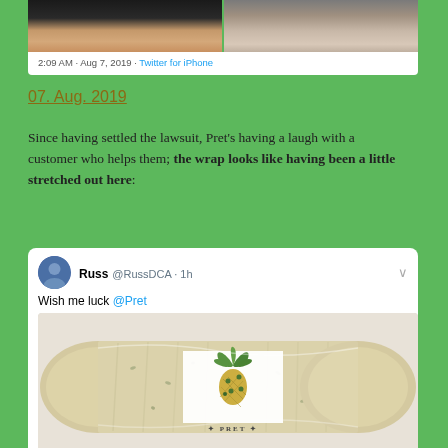[Figure (photo): Top portion of a tweet card showing two photos side by side — left photo shows a hand/knee (dark background), right photo shows a wrist with a watch. Bottom of tweet card shows timestamp.]
2:09 AM · Aug 7, 2019 · Twitter for iPhone
07. Aug. 2019
Since having settled the lawsuit, Pret's having a laugh with a customer who helps them; the wrap looks like having been a little stretched out here:
[Figure (screenshot): Tweet screenshot from user Russ @RussDCA · 1h saying 'Wish me luck @Pret' with a photo of a Pret A Manger food wrap/sandwich wrap rolled up with a Pret label showing an illustrated pineapple/palm tree motif.]